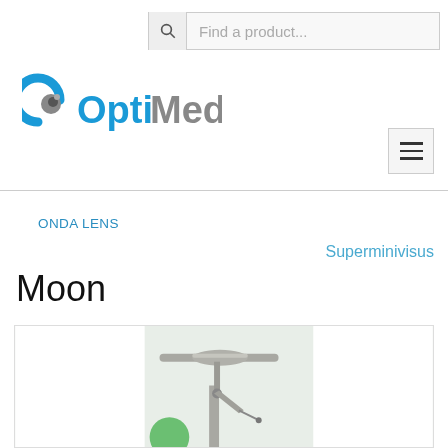Find a product...
[Figure (logo): OptiMed logo with blue circular eye icon and text 'OptiMed' in blue and gray]
[Figure (other): Hamburger menu button with three horizontal bars]
ONDA LENS
Superminivisus
Moon
[Figure (photo): Medical/surgical lamp or instrument arm device on a light blue-green background]